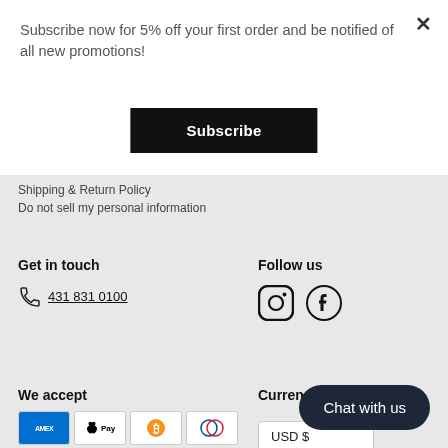Subscribe now for 5% off your first order and be notified of all new promotions!
Subscribe
Shipping & Return Policy
Do not sell my personal information
Get in touch
431 831 0100
Follow us
[Figure (illustration): Instagram and Facebook social media icons]
We accept
[Figure (illustration): Payment method icons: AMEX, Apple Pay, Bitcoin, Diners Club, Discover, Google Pay, Mastercard, Shop Pay, VISA]
Currency
USD $
Chat with us